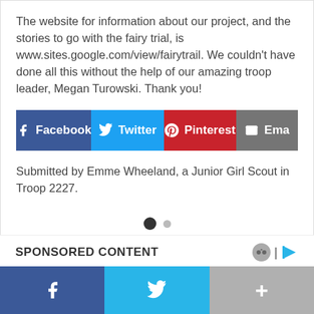The website for information about our project, and the stories to go with the fairy trial, is www.sites.google.com/view/fairytrail. We couldn't have done all this without the help of our amazing troop leader, Megan Turowski. Thank you!
[Figure (infographic): Social share buttons: Facebook (blue), Twitter (blue), Pinterest (red), Email (grey)]
Submitted by Emme Wheeland, a Junior Girl Scout in Troop 2227.
SPONSORED CONTENT
[Figure (infographic): Carousel navigation dots: one filled dark dot and one smaller light dot]
Social share footer bar with Facebook, Twitter, and More (+) buttons